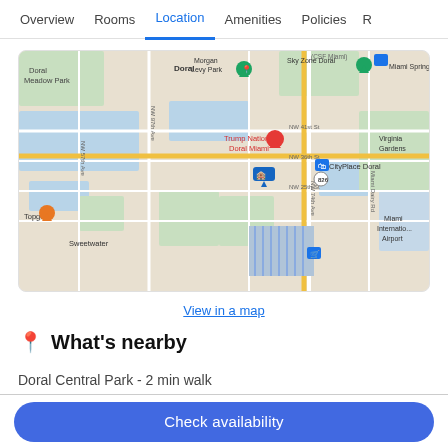Overview | Rooms | Location | Amenities | Policies | R
[Figure (map): Google Maps view showing Doral, FL area including Trump National Doral Miami, CityPlace Doral, Morgan Levy Park, Sky Zone Doral, Topgolf, Sweetwater, Sam's Club, Miami International Airport, Virginia Gardens, Miami Springs, Doral Meadow Park]
View in a map
What's nearby
Doral Central Park - 2 min walk
Check availability